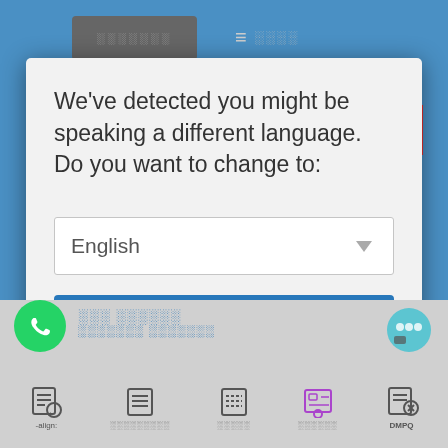[Figure (screenshot): Screenshot of a website with a language-switch modal dialog. The modal contains a message asking if the user wants to change language, a dropdown showing 'English', a 'Change Language' button, and a 'Close and do not switch language' link. Behind the modal is a blue navigation bar with obscured text. The bottom shows a toolbar with icons labeled in Hebrew/obscured text and 'DMPQ'.]
We've detected you might be speaking a different language. Do you want to change to:
English
Change Language
Close and do not switch language
-align:  DMPQ